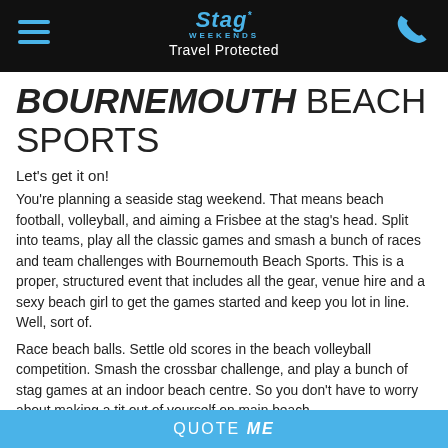Stag Weekends — Travel Protected
BOURNEMOUTH BEACH SPORTS
Let's get it on!
You're planning a seaside stag weekend. That means beach football, volleyball, and aiming a Frisbee at the stag's head. Split into teams, play all the classic games and smash a bunch of races and team challenges with Bournemouth Beach Sports. This is a proper, structured event that includes all the gear, venue hire and a sexy beach girl to get the games started and keep you lot in line. Well, sort of.
Race beach balls. Settle old scores in the beach volleyball competition. Smash the crossbar challenge, and play a bunch of stag games at an indoor beach centre. So you don't have to worry about making a tit out of yourself on main beach.
"Baywatch has enriched and in many cases helped save, lives" -
QUOTE ME